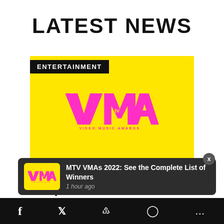LATEST NEWS
ENTERTAINMENT
[Figure (logo): MTV VMA Video Music Awards logo — magenta/pink VMA lettering with small MTV logo on yellow background]
MTV VMAs 2022: See The Complete List of Winners
[Figure (screenshot): Mobile push notification overlay showing MTV VMAs 2022 thumbnail and text 'MTV VMAs 2022: See the Complete List of Winners, 1 hour ago']
Facebook  Twitter  Share  Comment  More